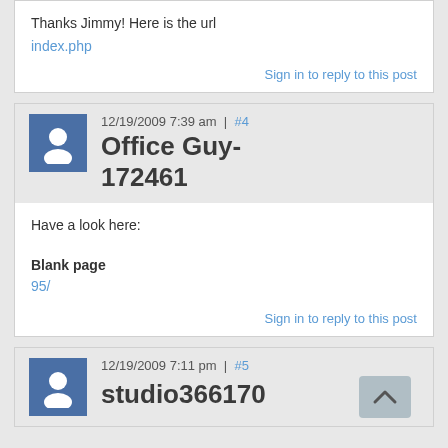Thanks Jimmy! Here is the url
index.php
Sign in to reply to this post
Office Guy-172461  12/19/2009 7:39 am | #4
Have a look here:

Blank page
95/
Sign in to reply to this post
studio366170  12/19/2009 7:11 pm | #5